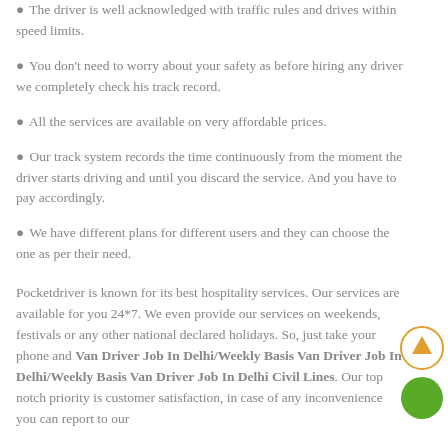The driver is well acknowledged with traffic rules and drives within speed limits.
You don't need to worry about your safety as before hiring any driver we completely check his track record.
All the services are available on very affordable prices.
Our track system records the time continuously from the moment the driver starts driving and until you discard the service. And you have to pay accordingly.
We have different plans for different users and they can choose the one as per their need.
Pocketdriver is known for its best hospitality services. Our services are available for you 24*7. We even provide our services on weekends, festivals or any other national declared holidays. So, just take your phone and Van Driver Job In Delhi/Weekly Basis Van Driver Job In Delhi/Weekly Basis Van Driver Job In Delhi Civil Lines. Our top notch priority is customer satisfaction, in case of any inconvenience you can report to our